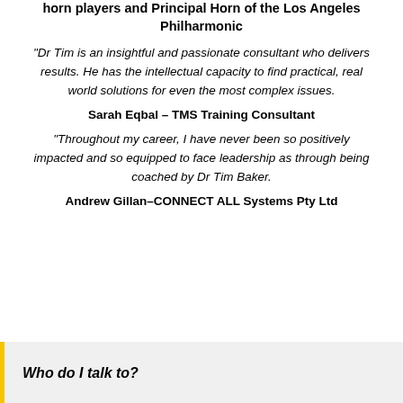horn players and Principal Horn of the Los Angeles Philharmonic
“Dr Tim is an insightful and passionate consultant who delivers results. He has the intellectual capacity to find practical, real world solutions for even the most complex issues.
Sarah Eqbal – TMS Training Consultant
“Throughout my career, I have never been so positively impacted and so equipped to face leadership as through being coached by Dr Tim Baker.
Andrew Gillan–CONNECT ALL Systems Pty Ltd
Who do I talk to?